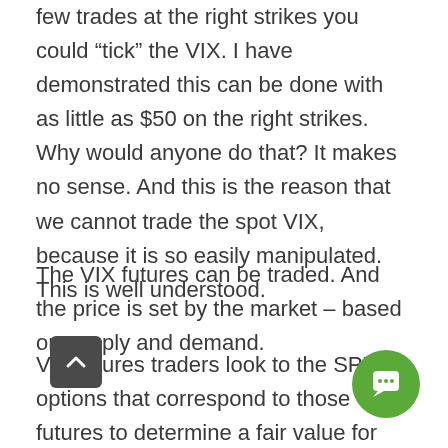few trades at the right strikes you could 'tick' the VIX. I have demonstrated this can be done with as little as $50 on the right strikes. Why would anyone do that? It makes no sense. And this is the reason that we cannot trade the spot VIX, because it is so easily manipulated. This is well understood.
The VIX futures can be traded. And the price is set by the market – based on supply and demand.
VIX futures traders look to the SPX options that correspond to those futures to determine a fair value for that future VIX. Let me explain that. The VIX is calculated based on a weighted average of option expirations that straddle 30 days. If we wanted to look at the fair val...